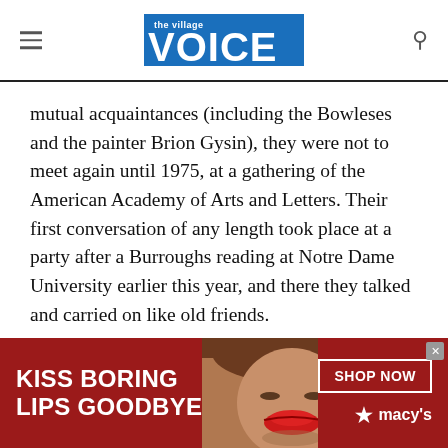the Village Voice
mutual acquaintances (including the Bowleses and the painter Brion Gysin), they were not to meet again until 1975, at a gathering of the American Academy of Arts and Letters. Their first conversation of any length took place at a party after a Burroughs reading at Notre Dame University earlier this year, and there they talked and carried on like old friends.
Tennessee's new play, Vieux Carre, opens tonight on
[Figure (infographic): Macy's advertisement banner with dark red background showing a woman's face with red lipstick. Text reads 'KISS BORING LIPS GOODBYE' on the left and 'SHOP NOW' button with 'macy's' star logo on the right.]